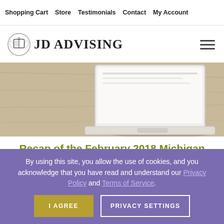Shopping Cart  Store  Testimonials  Contact  My Account
[Figure (logo): JD Advising logo with open book icon and text 'JD ADVISING']
[Figure (photo): Hero image showing a laptop on a wooden desk surface, light wood grain background with white laptop device]
Recap of the February 2018 Michigan Bar Exam
By using this site, you allow the use of cookies, and you acknowledge that you have read and understand our Privacy Policy and Terms of Service.
I AGREE  PRIVACY SETTINGS